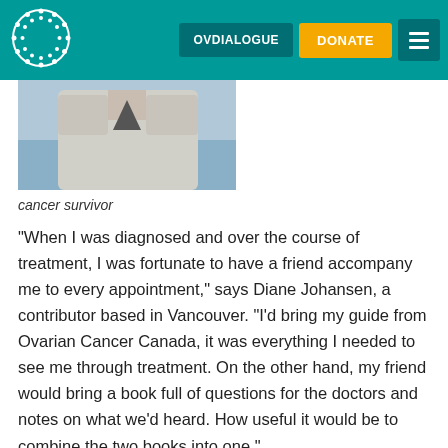OVDIALOGUE | DONATE | Menu
[Figure (photo): Partial photo of a person, likely a woman in a light-colored jacket, cancer survivor]
cancer survivor
“When I was diagnosed and over the course of treatment, I was fortunate to have a friend accompany me to every appointment,” says Diane Johansen, a contributor based in Vancouver. “I’d bring my guide from Ovarian Cancer Canada, it was everything I needed to see me through treatment. On the other hand, my friend would bring a book full of questions for the doctors and notes on what we’d heard. How useful it would be to combine the two books into one.”
With sights set on developing an updated resource that could further support each woman in her unique